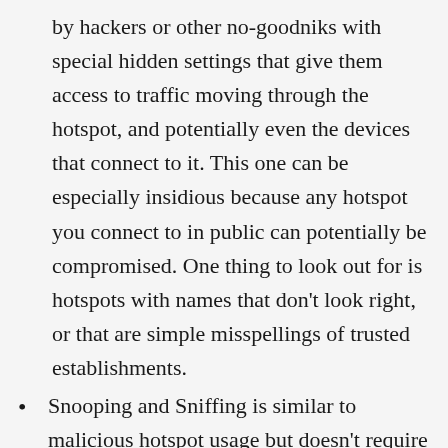by hackers or other no-goodniks with special hidden settings that give them access to traffic moving through the hotspot, and potentially even the devices that connect to it. This one can be especially insidious because any hotspot you connect to in public can potentially be compromised. One thing to look out for is hotspots with names that don't look right, or that are simple misspellings of trusted establishments.
Snooping and Sniffing is similar to malicious hotspot usage but doesn't require a compromised hotspot in order to work.